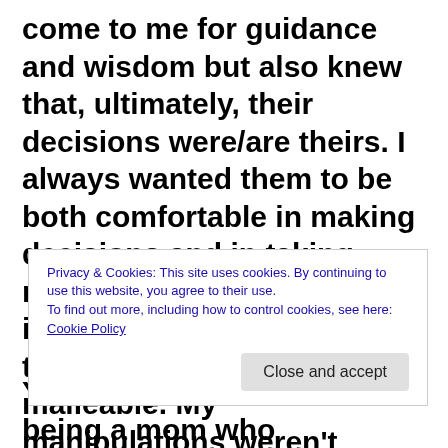come to me for guidance and wisdom but also knew that, ultimately, their decisions were/are theirs. I always wanted them to be both comfortable in making decisions and in taking responsibility for them. But, it all began long ago, when they were so, so… malleable. My manipulations weren't conscious, but they were there, gently nudging them to make the decision I wanted them to make.
Privacy & Cookies: This site uses cookies. By continuing to use this website, you agree to their use.
To find out more, including how to control cookies, see here: Cookie Policy
Close and accept
Yes, I've just admitted to being a mom who